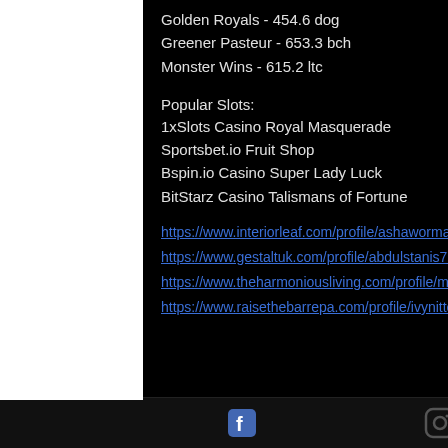Golden Royals - 454.6 dog
Greener Pasteur - 653.3 bch
Monster Wins - 615.2 ltc
Popular Slots:
1xSlots Casino Royal Masquerade
Sportsbet.io Fruit Shop
Bspin.io Casino Super Lady Luck
BitStarz Casino Talismans of Fortune
https://www.interiorleaf.com/profile/ashaworman18701420/profile
https://www.gestaltuk.com/profile/abdulstanis770457/profile
https://www.theharmoniousliving.com/profile/marcybarretto10121350/profile
https://www.raisethebarrepa.com/profile/ivynittenhouse7224815/profile